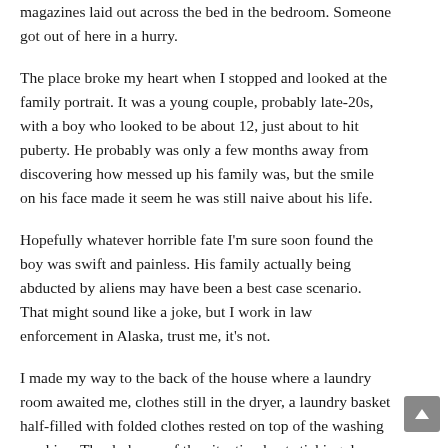magazines laid out across the bed in the bedroom. Someone got out of here in a hurry.
The place broke my heart when I stopped and looked at the family portrait. It was a young couple, probably late-20s, with a boy who looked to be about 12, just about to hit puberty. He probably was only a few months away from discovering how messed up his family was, but the smile on his face made it seem he was still naive about his life.
Hopefully whatever horrible fate I'm sure soon found the boy was swift and painless. His family actually being abducted by aliens may have been a best case scenario. That might sound like a joke, but I work in law enforcement in Alaska, trust me, it's not.
I made my way to the back of the house where a laundry room awaited me, clothes still in the dryer, a laundry basket half-filled with folded clothes rested on top of the washing machine. The darkness of the situation kept sticking deeper into me and I